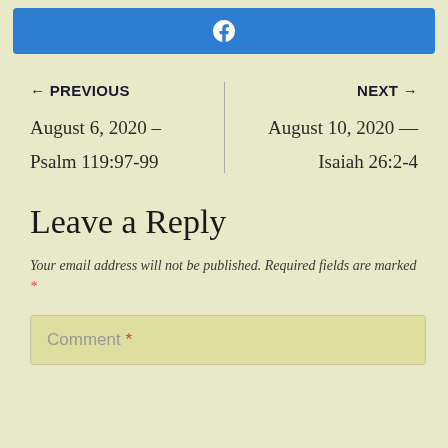[Figure (logo): Facebook share button with white Facebook logo icon on blue background]
← PREVIOUS
NEXT →
August 6, 2020 –
August 10, 2020 —
Psalm 119:97-99
Isaiah 26:2-4
Leave a Reply
Your email address will not be published. Required fields are marked *
Comment *